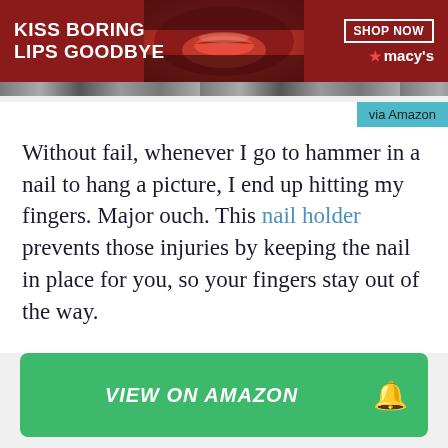[Figure (photo): Macy's advertisement banner: 'KISS BORING LIPS GOODBYE' with a woman's face and red lips, SHOP NOW button and Macy's star logo on red background]
via Amazon
Without fail, whenever I go to hammer in a nail to hang a picture, I end up hitting my fingers. Major ouch. This nail holder prevents those injuries by keeping the nail in place for you, so your fingers stay out of the way.
VIEW ON AMAZON